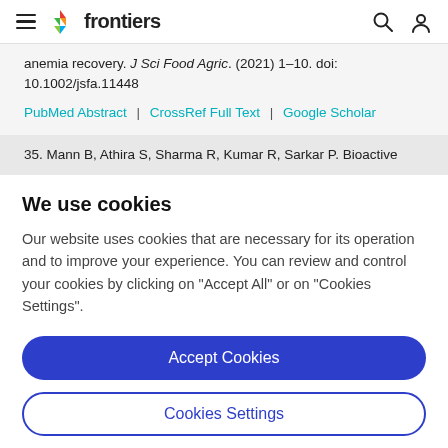frontiers
anemia recovery. J Sci Food Agric. (2021) 1–10. doi: 10.1002/jsfa.11448
PubMed Abstract | CrossRef Full Text | Google Scholar
35. Mann B, Athira S, Sharma R, Kumar R, Sarkar P. Bioactive
We use cookies
Our website uses cookies that are necessary for its operation and to improve your experience. You can review and control your cookies by clicking on "Accept All" or on "Cookies Settings".
Accept Cookies
Cookies Settings